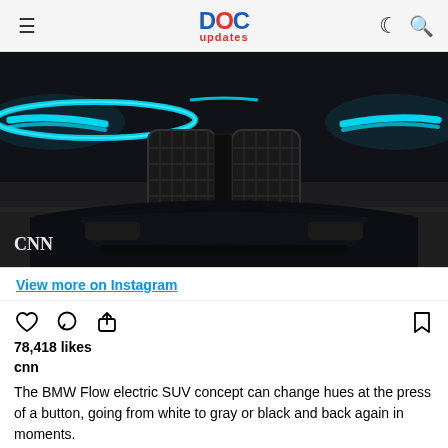DOC updates
[Figure (photo): Front view of BMW iX Flow electric SUV concept car with glowing cyan headlights on dark background. CNN watermark in bottom left.]
View more on Instagram
78,418 likes
cnn
The BMW Flow electric SUV concept can change hues at the press of a button, going from white to gray or black and back again in moments.